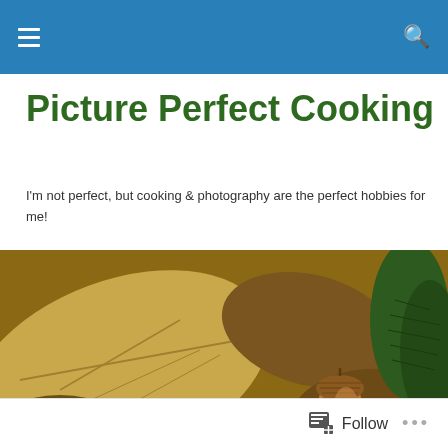Navigation bar with hamburger menu and search icon
Picture Perfect Cooking
I'm not perfect, but cooking & photography are the perfect hobbies for me!
[Figure (photo): Close-up photograph of autumn leaves and an acorn on the ground with some green pine needles visible]
DAILY ARCHIVES: MARCH 17, 2012
Peanut Butter Blossoms
Follow